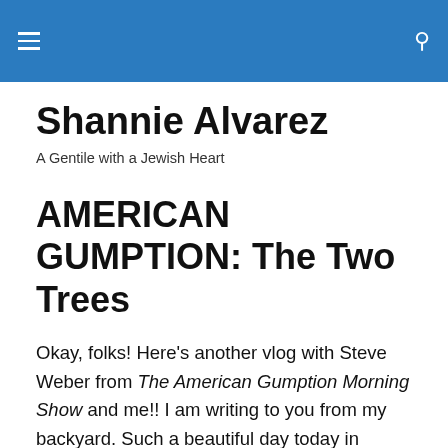☰ 🔍
Shannie Alvarez
A Gentile with a Jewish Heart
AMERICAN GUMPTION: The Two Trees
Okay, folks! Here's another vlog with Steve Weber from The American Gumption Morning Show and me!! I am writing to you from my backyard. Such a beautiful day today in Ontario, Canada. On Thursday, June, 3, Steve will be live-streaming our talk about what the cover of We Are One means and why I picked it. Our talk starts at